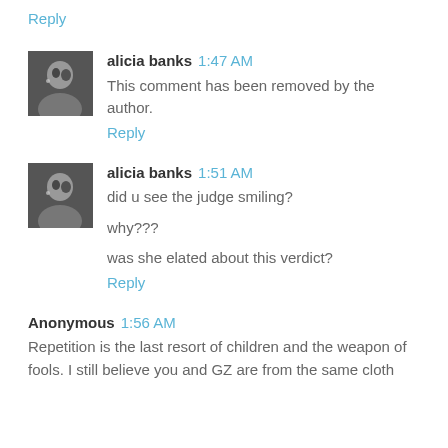Reply
alicia banks 1:47 AM
This comment has been removed by the author.
Reply
alicia banks 1:51 AM
did u see the judge smiling?
why???
was she elated about this verdict?
Reply
Anonymous 1:56 AM
Repetition is the last resort of children and the weapon of fools. I still believe you and GZ are from the same cloth